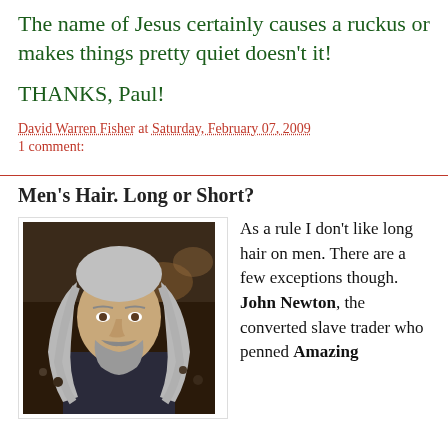The name of Jesus certainly causes a ruckus or makes things pretty quiet doesn't it!
THANKS, Paul!
David Warren Fisher at Saturday, February 07, 2009
1 comment:
Men's Hair. Long or Short?
[Figure (photo): Man with long gray hair, beard and mustache, wearing a dark shirt, photographed at what appears to be a crowded venue]
As a rule I don't like long hair on men. There are a few exceptions though. John Newton, the converted slave trader who penned Amazing